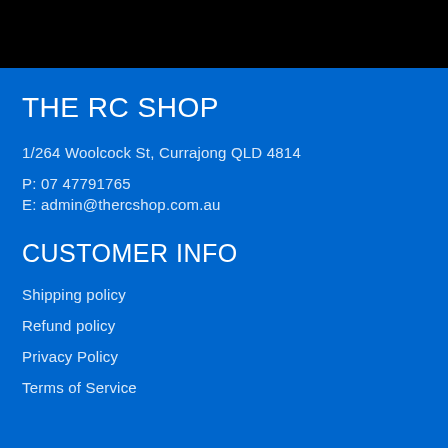THE RC SHOP
1/264 Woolcock St, Currajong QLD 4814
P: 07 47791765
E: admin@thercshop.com.au
CUSTOMER INFO
Shipping policy
Refund policy
Privacy Policy
Terms of Service